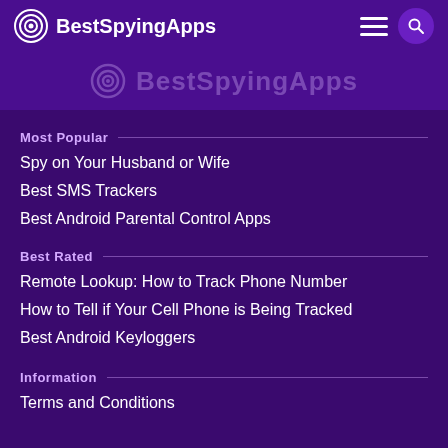BestSpyingApps
[Figure (logo): BestSpyingApps watermark logo with circular target icon and text]
Most Popular
Spy on Your Husband or Wife
Best SMS Trackers
Best Android Parental Control Apps
Best Rated
Remote Lookup: How to Track Phone Number
How to Tell if Your Cell Phone is Being Tracked
Best Android Keyloggers
Information
Terms and Conditions